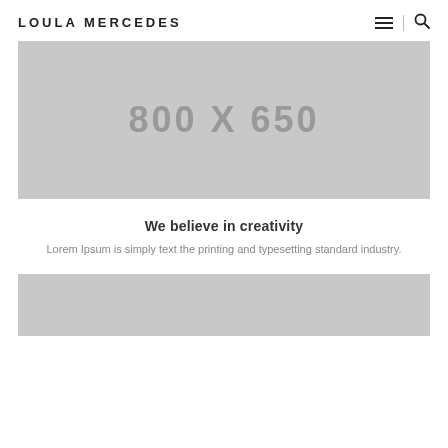LOULA MERCEDES
[Figure (other): Placeholder image showing '800 X 650' text on a grey background]
We believe in creativity
Lorem Ipsum is simply text the printing and typesetting standard industry.
[Figure (other): Partial placeholder image at the bottom of the page, grey background]